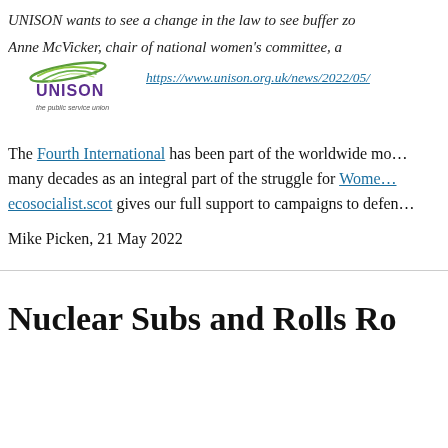UNISON wants to see a change in the law to see buffer zo…
Anne McVicker, chair of national women's committee, a…
[Figure (logo): UNISON the public service union logo]
https://www.unison.org.uk/news/2022/05/…
The Fourth International has been part of the worldwide mo… many decades as an integral part of the struggle for Women… ecosocialist.scot gives our full support to campaigns to defen…
Mike Picken, 21 May 2022
Nuclear Subs and Rolls Ro…